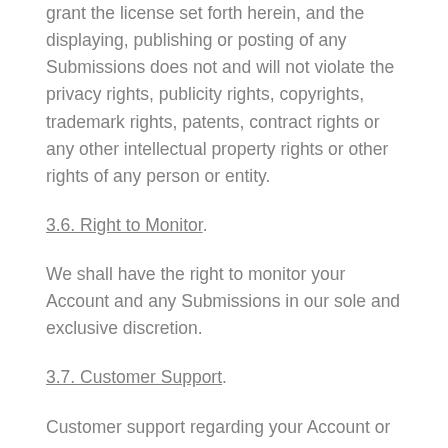grant the license set forth herein, and the displaying, publishing or posting of any Submissions does not and will not violate the privacy rights, publicity rights, copyrights, trademark rights, patents, contract rights or any other intellectual property rights or other rights of any person or entity.
3.6. Right to Monitor.
We shall have the right to monitor your Account and any Submissions in our sole and exclusive discretion.
3.7. Customer Support.
Customer support regarding your Account or